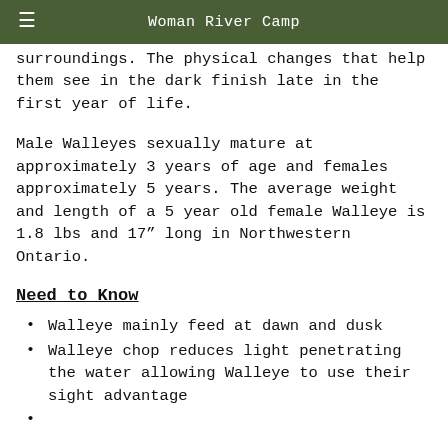Woman River Camp
surroundings. The physical changes that help them see in the dark finish late in the first year of life.
Male Walleyes sexually mature at approximately 3 years of age and females approximately 5 years. The average weight and length of a 5 year old female Walleye is 1.8 lbs and 17" long in Northwestern Ontario.
Need to Know
Walleye mainly feed at dawn and dusk
Walleye chop reduces light penetrating the water allowing Walleye to use their sight advantage